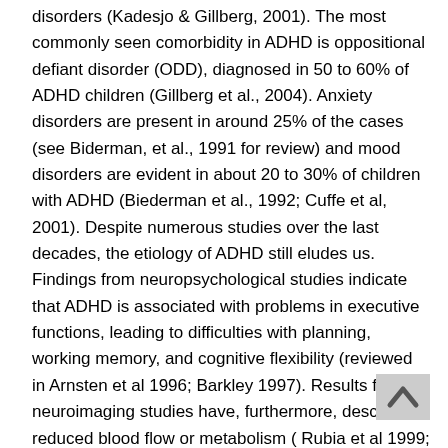disorders (Kadesjo & Gillberg, 2001). The most commonly seen comorbidity in ADHD is oppositional defiant disorder (ODD), diagnosed in 50 to 60% of ADHD children (Gillberg et al., 2004). Anxiety disorders are present in around 25% of the cases (see Biderman, et al., 1991 for review) and mood disorders are evident in about 20 to 30% of children with ADHD (Biederman et al., 1992; Cuffe et al, 2001). Despite numerous studies over the last decades, the etiology of ADHD still eludes us. Findings from neuropsychological studies indicate that ADHD is associated with problems in executive functions, leading to difficulties with planning, working memory, and cognitive flexibility (reviewed in Arnsten et al 1996; Barkley 1997). Results from neuroimaging studies have, furthermore, described reduced blood flow or metabolism ( Rubia et al 1999; Yeo et al 2000) and reductions (Castellanos et al. 1996; Filipek et al., 1997) in prefrontal volume in ADHD individuals.